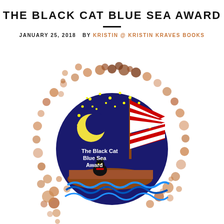THE BLACK CAT BLUE SEA AWARD
JANUARY 25, 2018   BY KRISTIN @ KRISTIN KRAVES BOOKS
[Figure (illustration): Circular arrangement of copper/brown dots of varying sizes forming an arc around a circular award badge. The badge shows a dark blue night sky with yellow stars and a crescent moon, a sailboat with a red and white striped sail, a black cat sitting in a wooden boat on blue waves. Text inside reads 'The Black Cat Blue Sea Award'.]